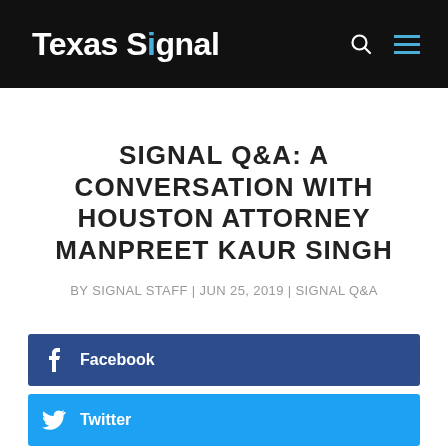Texas Signal
SIGNAL Q&A: A CONVERSATION WITH HOUSTON ATTORNEY MANPREET KAUR SINGH
BY SIGNAL STAFF | JUN 25, 2019 | SIGNAL Q&A
Facebook
Twitter